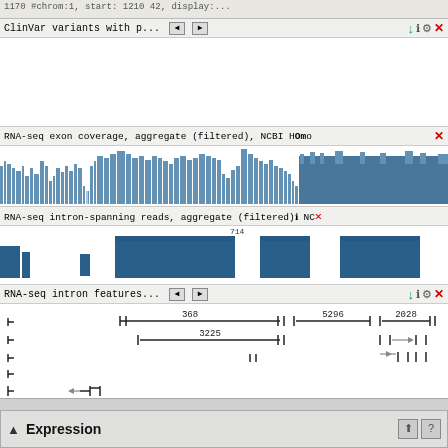[Figure (screenshot): NCBI genome browser screenshot showing ClinVar variants track (empty/blank area), RNA-seq exon coverage aggregate filtered track with blue histogram, RNA-seq intron-spanning reads aggregate filtered track with blue blocks, RNA-seq intron features track with bracket/arrow annotations showing values 368, 5296, 2028, 3225. Coordinate bar shows 147,175K to 147,155K. Status bar shows NC_000001.11: 147M..147M (22,575 nt) C and Tracks shown: 11/822]
Expression